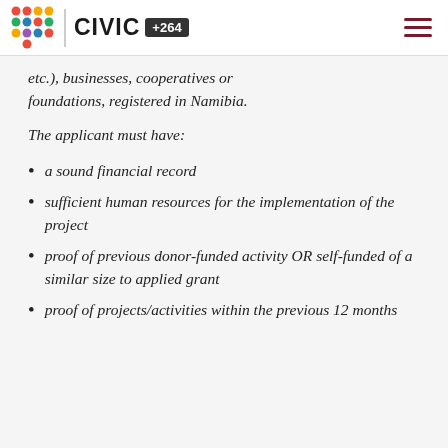CIVIC +264
etc.), businesses, cooperatives or foundations, registered in Namibia.
The applicant must have:
a sound financial record
sufficient human resources for the implementation of the project
proof of previous donor-funded activity OR self-funded of a similar size to applied grant
proof of projects/activities within the previous 12 months